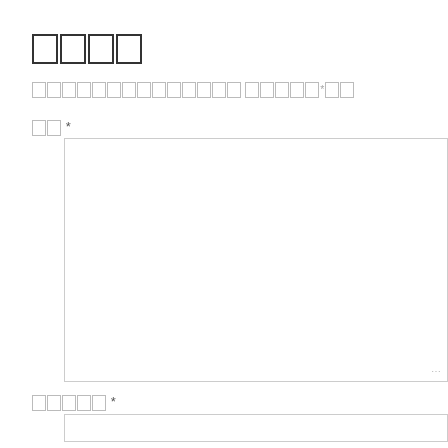□□□□
□□□□□□□□□□□□□□ □□□□□*□□
□□ *
[Figure (other): Large empty text area input box with resize handle]
□□□□□ *
[Figure (other): Single-line text input box]